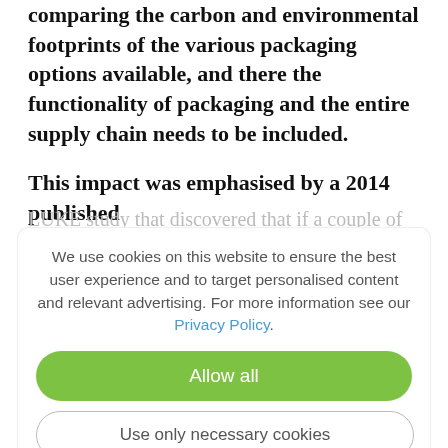comparing the carbon and environmental footprints of the various packaging options available, and there the functionality of packaging and the entire supply chain needs to be included.
This impact was emphasised by a 2014 published LUKE study that discovered that if a couple of ham slices are not eaten from a pack, the (negative) climate impact of the waste is far greater than all savings from the package's manufacturing.
We use cookies on this website to ensure the best user experience and to target personalised content and relevant advertising. For more information see our Privacy Policy.
Moving packaging in the right direction
There are many ways to reduce food waste, but UPM Specialty Papers has been doing its part by